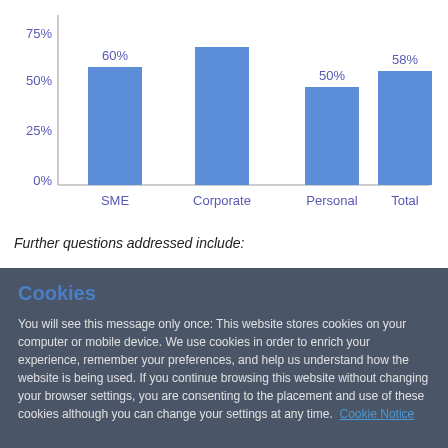[Figure (bar-chart): ]
Further questions addressed include:
Cookies
You will see this message only once: This website stores cookies on your computer or mobile device. We use cookies in order to enrich your experience, remember your preferences, and help us understand how the website is being used. If you continue browsing this website without changing your browser settings, you are consenting to the placement and use of these cookies although you can change your settings at any time. Cookie Notice